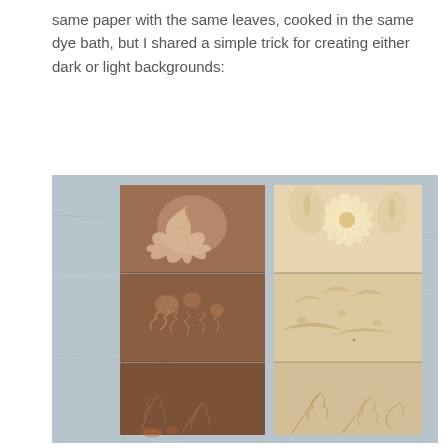same paper with the same leaves, cooked in the same dye bath, but I shared a simple trick for creating either dark or light backgrounds:
[Figure (photo): Two vertical panels side by side showing eco-printed paper sheets with botanical leaf and flower impressions. The left panel has a darker brown background with pale leaf imprints (includes a maple-like leaf on top, small round shapes in the middle, and fern-like sprigs at the bottom). The right panel has a lighter cream/beige background with darker botanical impressions including daisy-like flowers on top, mixed foliage in the middle, and fern fronds at the bottom. Both panels appear to be folded sheets of paper placed on a blue-grey marbled surface.]